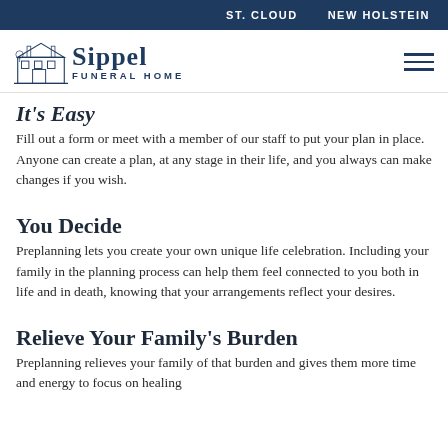ST. CLOUD    NEW HOLSTEIN
[Figure (logo): Sippel Funeral Home logo with building illustration and text]
It's Easy
Fill out a form or meet with a member of our staff to put your plan in place. Anyone can create a plan, at any stage in their life, and you always can make changes if you wish.
You Decide
Preplanning lets you create your own unique life celebration. Including your family in the planning process can help them feel connected to you both in life and in death, knowing that your arrangements reflect your desires.
Relieve Your Family's Burden
Preplanning relieves your family of that burden and gives them more time and energy to focus on healing